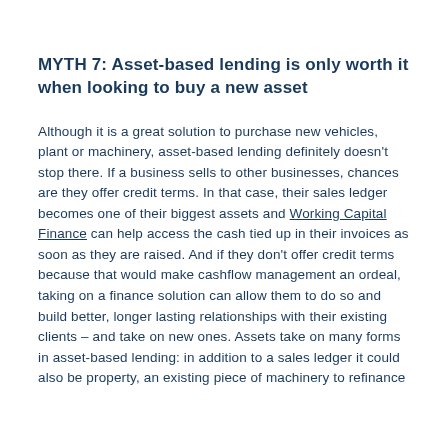MYTH 7: Asset-based lending is only worth it when looking to buy a new asset
Although it is a great solution to purchase new vehicles, plant or machinery, asset-based lending definitely doesn't stop there. If a business sells to other businesses, chances are they offer credit terms. In that case, their sales ledger becomes one of their biggest assets and Working Capital Finance can help access the cash tied up in their invoices as soon as they are raised. And if they don't offer credit terms because that would make cashflow management an ordeal, taking on a finance solution can allow them to do so and build better, longer lasting relationships with their existing clients – and take on new ones. Assets take on many forms in asset-based lending: in addition to a sales ledger it could also be property, an existing piece of machinery to refinance